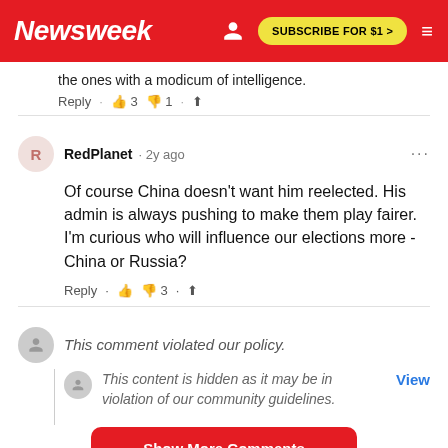Newsweek  SUBSCRIBE FOR $1 >
the ones with a modicum of intelligence.
Reply · 👍 3  👎 1 · share
RedPlanet · 2y ago
Of course China doesn't want him reelected. His admin is always pushing to make them play fairer. I'm curious who will influence our elections more - China or Russia?
Reply · 👍  👎 3 · share
This comment violated our policy.
This content is hidden as it may be in violation of our community guidelines.  View
Show More Comments